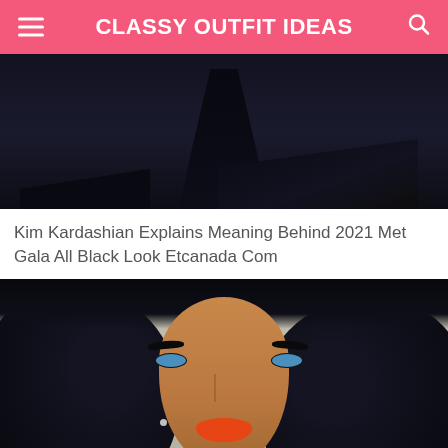CLASSY OUTFIT IDEAS
[Figure (photo): Dark fashion photo showing a person in an all-black outfit with flowing black fabric on the ground]
Kim Kardashian Explains Meaning Behind 2021 Met Gala All Black Look Etcanada Com
[Figure (photo): Close-up portrait of a woman with long wavy black hair, dramatic eye makeup with prominent eyebrows and lashes, green/blue eyes, and bright orange-red lipstick]